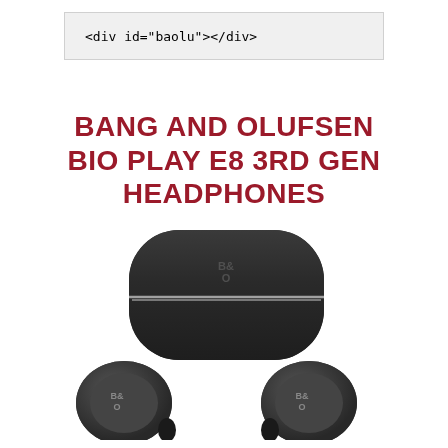<div id="baolu"></div>
BANG AND OLUFSEN BIO PLAY E8 3RD GEN HEADPHONES
[Figure (photo): Bang and Olufsen Beoplay E8 3rd generation true wireless earbuds with their black leather charging case. The rounded black leather case is shown with a silver seam, and the two individual earbuds with B&O logos are displayed below it.]